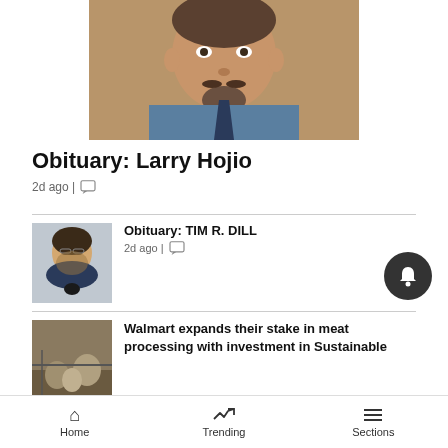[Figure (photo): Portrait photo of Larry Hojio, man with facial hair and blue shirt and tie, brownish background]
Obituary: Larry Hojio
2d ago |
[Figure (photo): Thumbnail portrait of Tim R. Dill, man with beard and glasses wearing a blazer]
Obituary: TIM R. DILL
2d ago |
[Figure (photo): Thumbnail photo of livestock/sheep in a pen]
Walmart expands their stake in meat processing with investment in Sustainable
Home   Trending   Sections